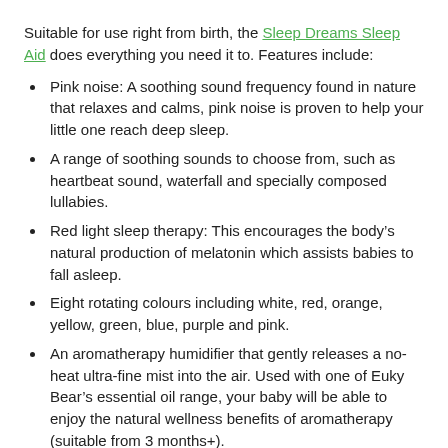Suitable for use right from birth, the Sleep Dreams Sleep Aid does everything you need it to. Features include:
Pink noise: A soothing sound frequency found in nature that relaxes and calms, pink noise is proven to help your little one reach deep sleep.
A range of soothing sounds to choose from, such as heartbeat sound, waterfall and specially composed lullabies.
Red light sleep therapy: This encourages the body’s natural production of melatonin which assists babies to fall asleep.
Eight rotating colours including white, red, orange, yellow, green, blue, purple and pink.
An aromatherapy humidifier that gently releases a no-heat ultra-fine mist into the air. Used with one of Euky Bear’s essential oil range, your baby will be able to enjoy the natural wellness benefits of aromatherapy (suitable from 3 months+).
Running all night long.
Safe and cool to touch.